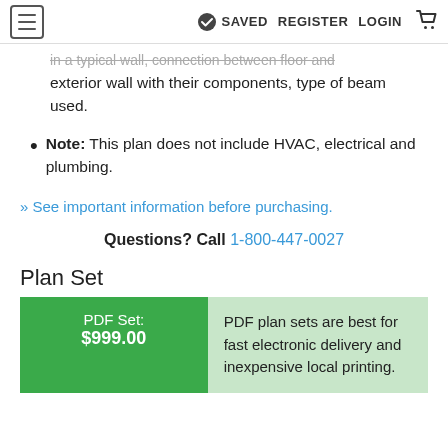SAVED  REGISTER  LOGIN
in a typical wall, connection between floor and exterior wall with their components, type of beam used.
Note: This plan does not include HVAC, electrical and plumbing.
» See important information before purchasing.
Questions? Call 1-800-447-0027
Plan Set
| PDF Set: $999.00 | Description |
| --- | --- |
| PDF Set:
$999.00 | PDF plan sets are best for fast electronic delivery and inexpensive local printing. |